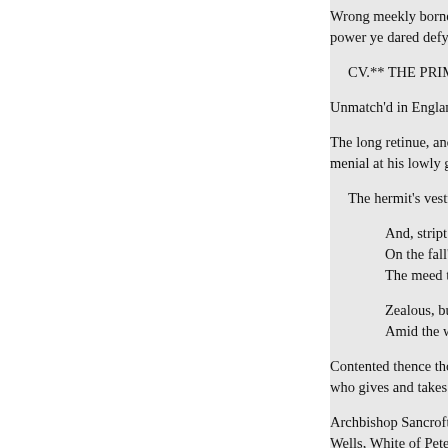Wrong meekly borne, with stead-
power ye dared defy!
CV.** THE PRIMATE DEPR
Unmatch'd in England's hierarch
The long retinue, and the sumptu-
menial at his lowly gate,
The hermit's vestment, and the
And, stript of outward pon
On the fall'n Patriarch's clo
The meed thou merit'st, SA
Zealous, but mild, in thy p
Amid the world's commotio
Contented thence thou took'st th
who gives and takes away!"
Archbishop Sancroft: the Bishop
Wells, White of Peter borough, T
1
« Înapoi